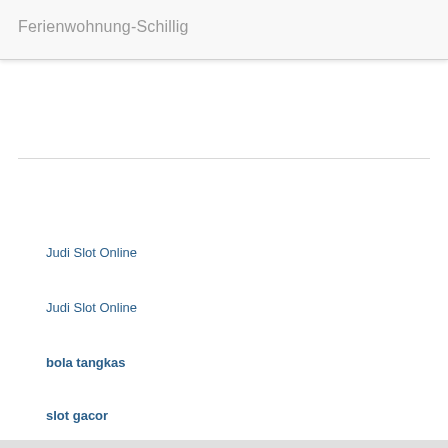Ferienwohnung-Schillig
Judi Slot Online
Judi Slot Online
bola tangkas
slot gacor